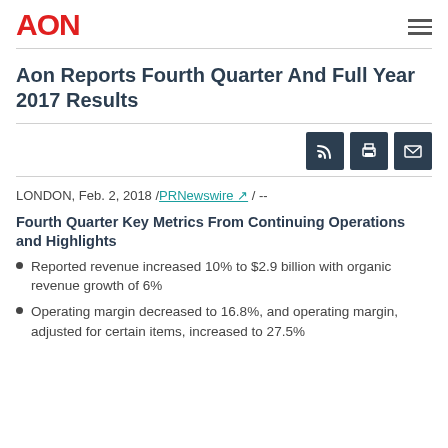AON
Aon Reports Fourth Quarter And Full Year 2017 Results
[Figure (infographic): Three dark icon buttons: RSS feed icon, print icon, and email/envelope icon]
LONDON, Feb. 2, 2018 /PRNewswire ↗/ --
Fourth Quarter Key Metrics From Continuing Operations and Highlights
Reported revenue increased 10% to $2.9 billion with organic revenue growth of 6%
Operating margin decreased to 16.8%, and operating margin, adjusted for certain items, increased to 27.5%